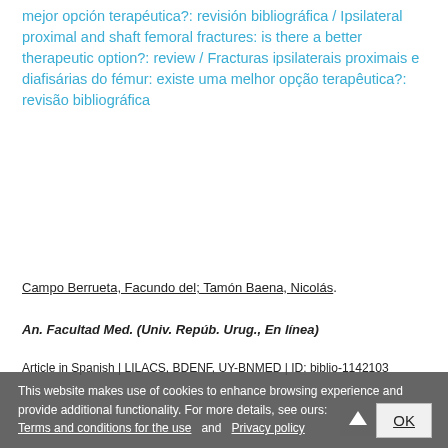mejor opción terapéutica?: revisión bibliográfica / Ipsilateral proximal and shaft femoral fractures: is there a better therapeutic option?: review / Fracturas ipsilaterais proximais e diafisárias do fémur: existe uma melhor opção terapêutica?: revisão bibliográfica
Campo Berrueta, Facundo del; Tamón Baena, Nicolás.
An. Facultad Med. (Univ. Repúb. Urug., En línea)
Article in Spanish | LILACS, BDENF, UY-BNMED | ID: biblio-1142103